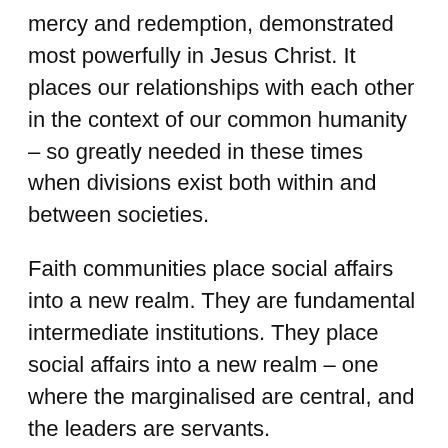mercy and redemption, demonstrated most powerfully in Jesus Christ. It places our relationships with each other in the context of our common humanity – so greatly needed in these times when divisions exist both within and between societies.
Faith communities place social affairs into a new realm. They are fundamental intermediate institutions. They place social affairs into a new realm – one where the marginalised are central, and the leaders are servants.
They lift it into a framework of love and faith, as we have respect for the human dignity of all people as made in the image of God. Isaiah 58 talks of the hypocrisy of fasting on the sabbath, whilst exploiting our workers and quarrelling with one another. The kind of fasting God has chosen is not piety on a Sunday, it is 'to loose the chains of injustice and untie the cords of the yoke, to set the oppressed free and